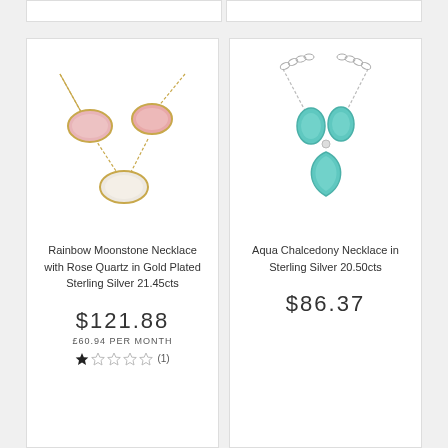[Figure (photo): Rainbow Moonstone Necklace with Rose Quartz in Gold Plated Sterling Silver — three oval pink/cream gemstones on a gold chain]
Rainbow Moonstone Necklace with Rose Quartz in Gold Plated Sterling Silver 21.45cts
$121.88
£60.94 PER MONTH
★☆☆☆☆ (1)
[Figure (photo): Aqua Chalcedony Necklace in Sterling Silver — turquoise teardrop pendant with two small oval turquoise stones on a silver chain]
Aqua Chalcedony Necklace in Sterling Silver 20.50cts
$86.37